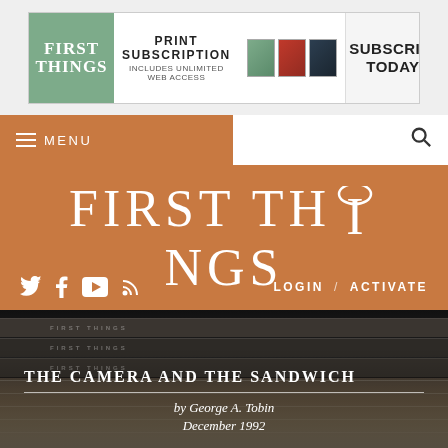[Figure (screenshot): First Things magazine subscription banner advertisement with logo, print subscription text, magazine images, and Subscribe Today call to action]
≡ MENU
[Figure (logo): FIRST THINGS website header with large serif title on orange/terracotta background]
LOGIN / ACTIVATE
[Figure (photo): Stack of First Things magazines photographed from the side, showing spines with 'FIRST THINGS' text repeated, dark background]
THE CAMERA AND THE SANDWICH
by George A. Tobin
December 1992